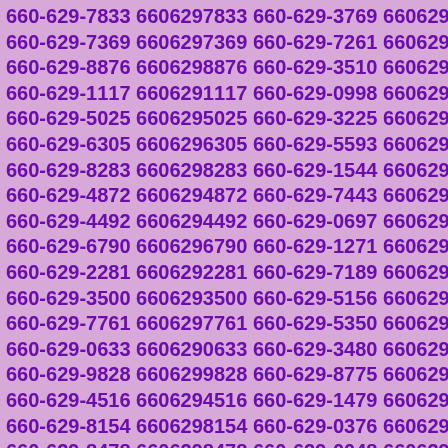660-629-7833 6606297833 660-629-3769 6606293769 660-629-7369 6606297369 660-629-7261 6606297261 660-629-8876 6606298876 660-629-3510 6606293510 660-629-1117 6606291117 660-629-0998 6606290998 660-629-5025 6606295025 660-629-3225 6606293225 660-629-6305 6606296305 660-629-5593 6606295593 660-629-8283 6606298283 660-629-1544 6606291544 660-629-4872 6606294872 660-629-7443 6606297443 660-629-4492 6606294492 660-629-0697 6606290697 660-629-6790 6606296790 660-629-1271 6606291271 660-629-2281 6606292281 660-629-7189 6606297189 660-629-3500 6606293500 660-629-5156 6606295156 660-629-7761 6606297761 660-629-5350 6606295350 660-629-0633 6606290633 660-629-3480 6606293480 660-629-9828 6606299828 660-629-8775 6606298775 660-629-4516 6606294516 660-629-1479 6606291479 660-629-8154 6606298154 660-629-0376 6606290376 660-629-8478 6606298478 660-629-0048 6606290048 660-629-8304 6606298304 660-629-0507 6606290507 660-629-2402 6606292402 660-629-2188 6606292188 660-629-5778 6606295778 660-629-6247 6606296247